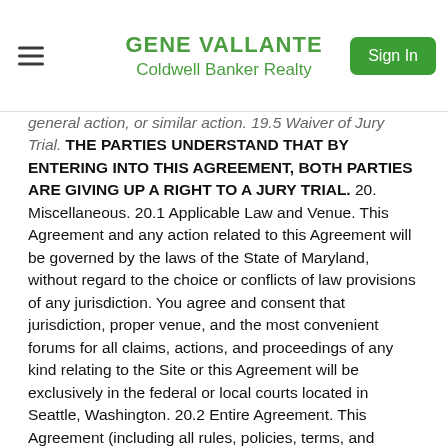GENE VALLANTE
Coldwell Banker Realty
general action, or similar action. 19.5 Waiver of Jury Trial. THE PARTIES UNDERSTAND THAT BY ENTERING INTO THIS AGREEMENT, BOTH PARTIES ARE GIVING UP A RIGHT TO A JURY TRIAL. 20. Miscellaneous. 20.1 Applicable Law and Venue. This Agreement and any action related to this Agreement will be governed by the laws of the State of Maryland, without regard to the choice or conflicts of law provisions of any jurisdiction. You agree and consent that jurisdiction, proper venue, and the most convenient forums for all claims, actions, and proceedings of any kind relating to the Site or this Agreement will be exclusively in the federal or local courts located in Seattle, Washington. 20.2 Entire Agreement. This Agreement (including all rules, policies, terms, and conditions incorporated herein by reference) constitutes the entire agreement between you and us relating to the subject matter hereof, and supersedes any and all prior agreements, negotiations, or other communications between you and us, whether oral or